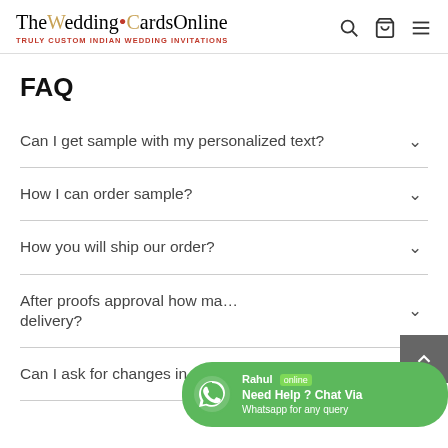TheWeddingCardsOnline — TRULY CUSTOM INDIAN WEDDING INVITATIONS
FAQ
Can I get sample with my personalized text?
How I can order sample?
How you will ship our order?
After proofs approval how many days will take delivery?
Can I ask for changes in proofs?
[Figure (infographic): WhatsApp chat bubble with green background. Shows 'Rahul online' with online status badge, and text 'Need Help ? Chat Via Whatsapp for any query']